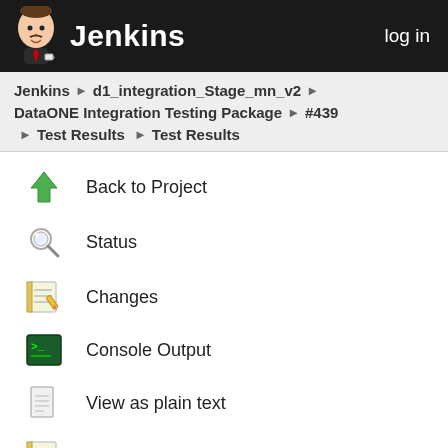Jenkins  log in
Jenkins ▶ d1_integration_Stage_mn_v2 ▶
DataONE Integration Testing Package ▶ #439
▶ Test Results ▶ Test Results
Back to Project
Status
Changes
Console Output
View as plain text
View Build Information